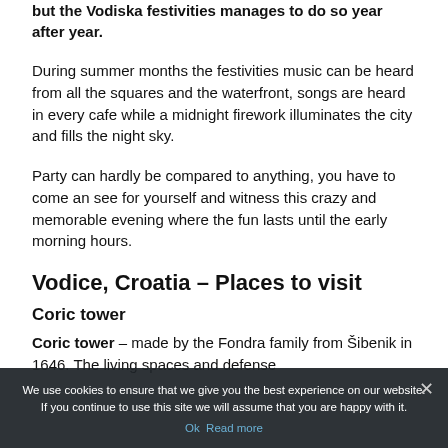but the Vodiska festivities manages to do so year after year.
During summer months the festivities music can be heard from all the squares and the waterfront, songs are heard in every cafe while a midnight firework illuminates the city and fills the night sky.
Party can hardly be compared to anything, you have to come an see for yourself and witness this crazy and memorable evening where the fun lasts until the early morning hours.
Vodice, Croatia – Places to visit
Coric tower
Coric tower – made by the Fondra family from Šibenik in 1646. The living spaces and defense...
We use cookies to ensure that we give you the best experience on our website. If you continue to use this site we will assume that you are happy with it.